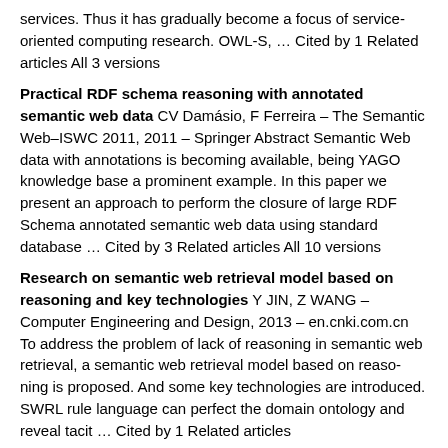services. Thus it has gradually become a focus of service-oriented computing research. OWL-S, … Cited by 1 Related articles All 3 versions
Practical RDF schema reasoning with annotated semantic web data CV Damásio, F Ferreira – The Semantic Web–ISWC 2011, 2011 – Springer Abstract Semantic Web data with annotations is becoming available, being YAGO knowledge base a prominent example. In this paper we present an approach to perform the closure of large RDF Schema annotated semantic web data using standard database … Cited by 3 Related articles All 10 versions
Research on semantic web retrieval model based on reasoning and key technologies Y JIN, Z WANG – Computer Engineering and Design, 2013 – en.cnki.com.cn To address the problem of lack of reasoning in semantic web retrieval, a semantic web retrieval model based on reaso-ning is proposed. And some key technologies are introduced. SWRL rule language can perfect the domain ontology and reveal tacit … Cited by 1 Related articles
Study on IETM domain ontology representation and reasoning based on semantic web WW Jiang, MJ Cao –